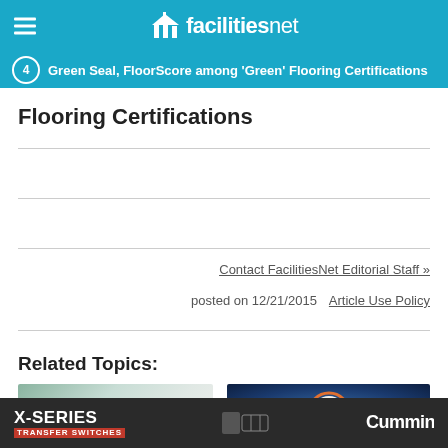facilitiesnet
Green Seal, FloorScore among 'Green' Flooring Certifications
Flooring Certifications
Contact FacilitiesNet Editorial Staff »
posted on 12/21/2015   Article Use Policy
Related Topics:
[Figure (photo): Interior hallway with plants and ceiling grid]
[Figure (photo): Blue glowing background with orange clock]
[Figure (other): Advertisement: X-Series Transfer Switches by Cummins]